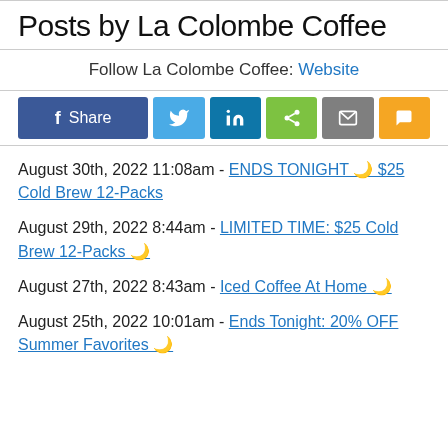Posts by La Colombe Coffee
Follow La Colombe Coffee: Website
[Figure (other): Social share buttons: Facebook Share, Twitter, LinkedIn, Share, Email, SMS]
August 30th, 2022 11:08am - ENDS TONIGHT 🌙 $25 Cold Brew 12-Packs
August 29th, 2022 8:44am - LIMITED TIME: $25 Cold Brew 12-Packs 🌙
August 27th, 2022 8:43am - Iced Coffee At Home 🌙
August 25th, 2022 10:01am - Ends Tonight: 20% OFF Summer Favorites 🌙